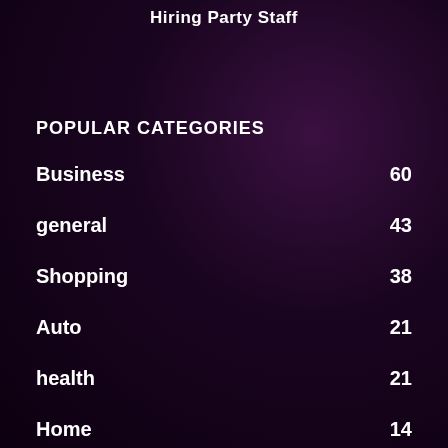Hiring Party Staff
POPULAR CATEGORIES
Business 60
general 43
Shopping 38
Auto 21
health 21
Home 14